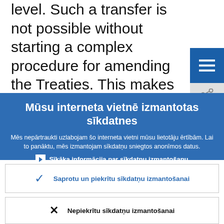level. Such a transfer is not possible without starting a complex procedure for amending the Treaties. This makes it very difficult to make the next steps. This is why the
[Figure (screenshot): Blue hamburger menu button (three horizontal lines) in top right corner, and a grey share button below it]
Mūsu interneta vietnē izmantotas sīkdatnes
Mēs nepārtraukti uzlabojam šo interneta vietni mūsu lietotāju ērtībām. Lai to panāktu, mēs izmantojam sīkdatņu sniegtos anonīmos datus.
▶ Sīkāka informācija par sīkdatņu izmantošanu
✓ Saprotu un piekrītu sīkdatņu izmantošanai
✕ Nepiekrītu sīkdatņu izmantošanai